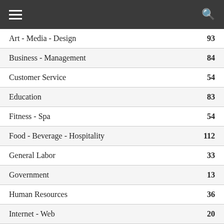Navigation menu header bar
Art - Media - Design  93
Business - Management  84
Customer Service  54
Education  83
Fitness - Spa  54
Food - Beverage - Hospitality  112
General Labor  33
Government  13
Human Resources  36
Internet - Web  20
Law - Legal  62